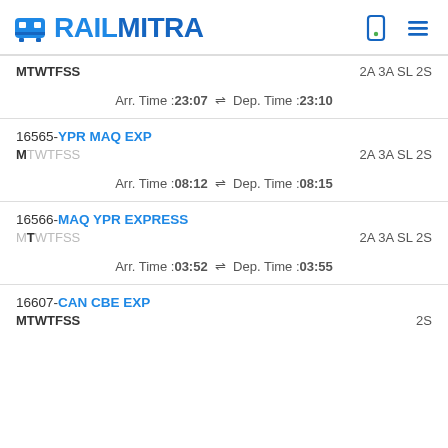RAILMITRA
MTWTFSS   2A 3A SL 2S
Arr. Time :23:07  ⇌  Dep. Time :23:10
16565-YPR MAQ EXP
MTWTFSS   2A 3A SL 2S
Arr. Time :08:12  ⇌  Dep. Time :08:15
16566-MAQ YPR EXPRESS
MTWTFSS   2A 3A SL 2S
Arr. Time :03:52  ⇌  Dep. Time :03:55
16607-CAN CBE EXP
MTWTFSS   2S